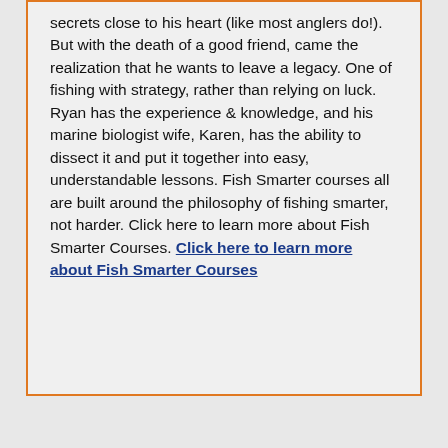secrets close to his heart (like most anglers do!). But with the death of a good friend, came the realization that he wants to leave a legacy. One of fishing with strategy, rather than relying on luck. Ryan has the experience & knowledge, and his marine biologist wife, Karen, has the ability to dissect it and put it together into easy, understandable lessons. Fish Smarter courses all are built around the philosophy of fishing smarter, not harder. Click here to learn more about Fish Smarter Courses. Click here to learn more about Fish Smarter Courses